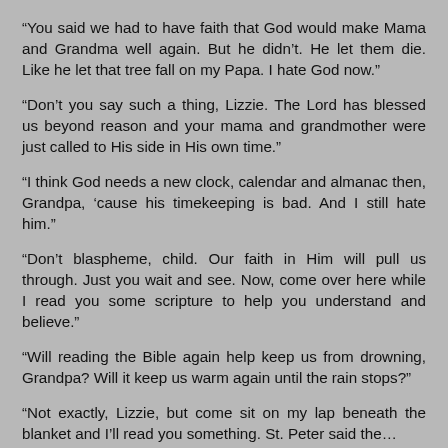“You said we had to have faith that God would make Mama and Grandma well again. But he didn’t. He let them die. Like he let that tree fall on my Papa. I hate God now.”
“Don’t you say such a thing, Lizzie. The Lord has blessed us beyond reason and your mama and grandmother were just called to His side in His own time.”
“I think God needs a new clock, calendar and almanac then, Grandpa, ‘cause his timekeeping is bad. And I still hate him.”
“Don’t blaspheme, child. Our faith in Him will pull us through. Just you wait and see. Now, come over here while I read you some scripture to help you understand and believe.”
“Will reading the Bible again help keep us from drowning, Grandpa? Will it keep us warm again until the rain stops?”
“Not exactly, Lizzie, but come sit on my lap beneath the blanket and I’ll read you something. St. Peter said the…